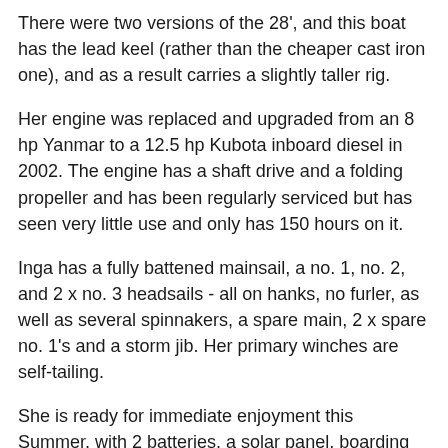There were two versions of the 28', and this boat has the lead keel (rather than the cheaper cast iron one), and as a result carries a slightly taller rig.
Her engine was replaced and upgraded from an 8 hp Yanmar to a 12.5 hp Kubota inboard diesel in 2002. The engine has a shaft drive and a folding propeller and has been regularly serviced but has seen very little use and only has 150 hours on it.
Inga has a fully battened mainsail, a no. 1, no. 2, and 2 x no. 3 headsails - all on hanks, no furler, as well as several spinnakers, a spare main, 2 x spare no. 1's and a storm jib. Her primary winches are self-tailing.
She is ready for immediate enjoyment this Summer, with 2 batteries, a solar panel, boarding ladder, 2 burner metho stove, ice box, and even a hot water cockpit shower.